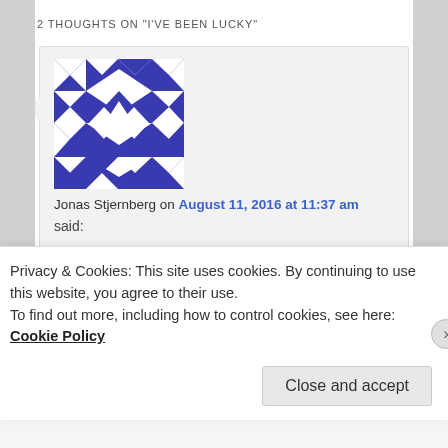2 THOUGHTS ON "I'VE BEEN LUCKY"
[Figure (illustration): Blue and white geometric avatar/identicon for Jonas Stjernberg with diamond and star patterns]
Jonas Stjernberg on August 11, 2016 at 11:37 am
said:
Luck means that the result of a random event is positive for the observer. I think “favourable circumstances” is more appropriate a word, than “luck” for what you describe. It is only through determined work, that we can reap the benefits of
Privacy & Cookies: This site uses cookies. By continuing to use this website, you agree to their use.
To find out more, including how to control cookies, see here: Cookie Policy
Close and accept